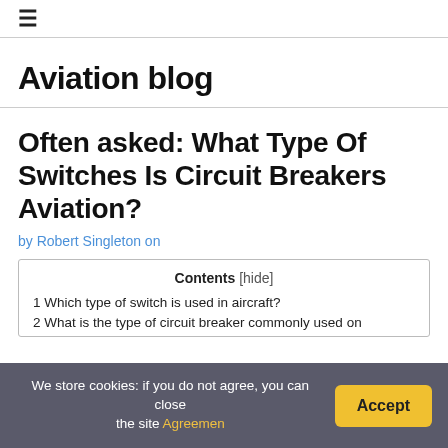≡
Aviation blog
Often asked: What Type Of Switches Is Circuit Breakers Aviation?
by Robert Singleton on
| Contents [hide] |
| --- |
| 1 Which type of switch is used in aircraft? |
| 2 What is the type of circuit breaker commonly used on... |
We store cookies: if you do not agree, you can close the site Agreemen